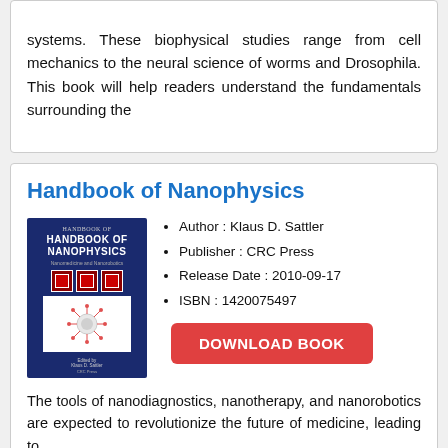systems. These biophysical studies range from cell mechanics to the neural science of worms and Drosophila. This book will help readers understand the fundamentals surrounding the
Handbook of Nanophysics
[Figure (illustration): Book cover of Handbook of Nanophysics - Nanomedicine and Nanorobotics, dark navy blue cover with red checkered boxes and a circular nanoparticle diagram, edited by Klaus D. Sattler, CRC Press]
Author : Klaus D. Sattler
Publisher : CRC Press
Release Date : 2010-09-17
ISBN : 1420075497
DOWNLOAD BOOK
The tools of nanodiagnostics, nanotherapy, and nanorobotics are expected to revolutionize the future of medicine, leading to